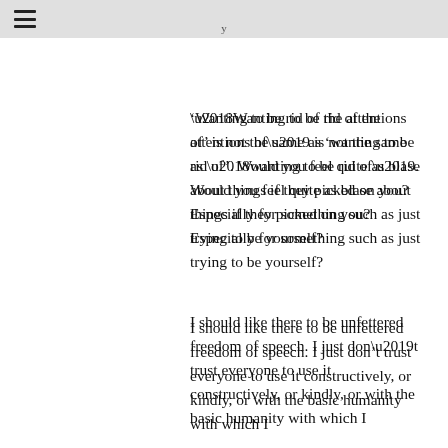‘Wanting to be rid of the attentions of’ is not the same as ‘wanting to be rid of’. Would you feel quite as blase about things if they picked on you? Especially for something such as just trying to be yourself?
I should like there to be unfettered freedom of speech. I just don’t trust everyone to use it constructively, or kindly, or with the basic humanity with which I...